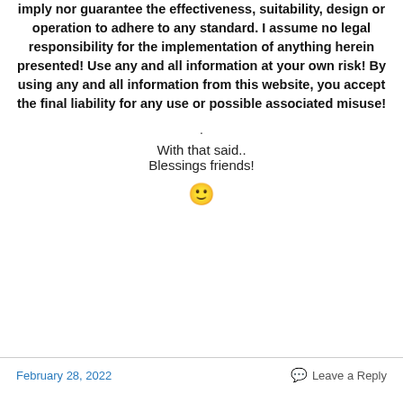imply nor guarantee the effectiveness, suitability, design or operation to adhere to any standard. I assume no legal responsibility for the implementation of anything herein presented! Use any and all information at your own risk! By using any and all information from this website, you accept the final liability for any use or possible associated misuse!
.
With that said..
Blessings friends!
[Figure (illustration): Smiley face emoji 🙂]
February 28, 2022   Leave a Reply